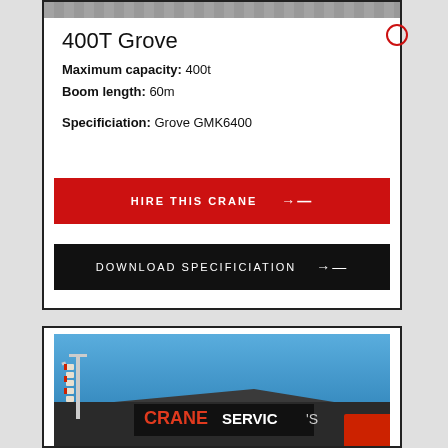[Figure (photo): Top strip image of crane equipment (partially visible at top of card)]
400T Grove
Maximum capacity: 400t
Boom length: 60m
Specificiation: Grove GMK6400
HIRE THIS CRANE →
DOWNLOAD SPECIFICIATION →
[Figure (photo): Photograph of a building with a crane and a sign reading CRANE SERVICES against a blue sky]